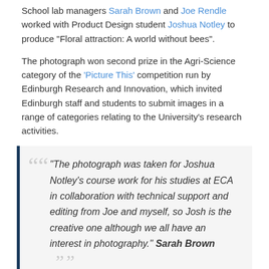School lab managers Sarah Brown and Joe Rendle worked with Product Design student Joshua Notley to produce "Floral attraction: A world without bees".
The photograph won second prize in the Agri-Science category of the 'Picture This' competition run by Edinburgh Research and Innovation, which invited Edinburgh staff and students to submit images in a range of categories relating to the University's research activities.
"The photograph was taken for Joshua Notley's course work for his studies at ECA in collaboration with technical support and editing from Joe and myself, so Josh is the creative one although we all have an interest in photography." Sarah Brown
"Floral attraction: A world without bees"